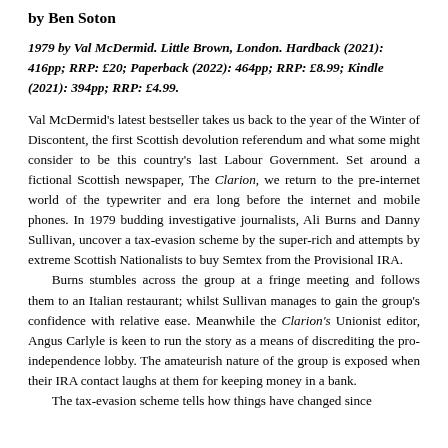by Ben Soton
1979 by Val McDermid. Little Brown, London. Hardback (2021): 416pp; RRP: £20; Paperback (2022): 464pp; RRP: £8.99; Kindle (2021): 394pp; RRP: £4.99.
Val McDermid's latest bestseller takes us back to the year of the Winter of Discontent, the first Scottish devolution referendum and what some might consider to be this country's last Labour Government. Set around a fictional Scottish newspaper, The Clarion, we return to the pre-internet world of the typewriter and era long before the internet and mobile phones. In 1979 budding investigative journalists, Ali Burns and Danny Sullivan, uncover a tax-evasion scheme by the super-rich and attempts by extreme Scottish Nationalists to buy Semtex from the Provisional IRA.
    Burns stumbles across the group at a fringe meeting and follows them to an Italian restaurant; whilst Sullivan manages to gain the group's confidence with relative ease. Meanwhile the Clarion's Unionist editor, Angus Carlyle is keen to run the story as a means of discrediting the pro-independence lobby. The amateurish nature of the group is exposed when their IRA contact laughs at them for keeping money in a bank.
    The tax-evasion scheme tells how things have changed since